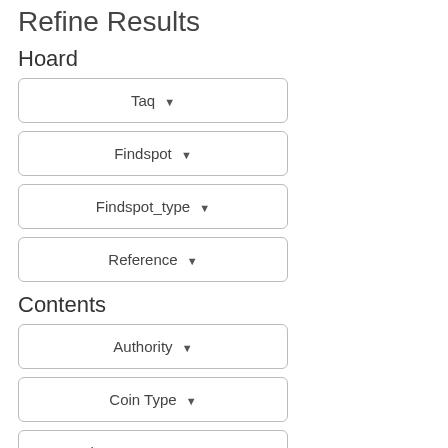Refine Results
Hoard
Taq
Findspot
Findspot_type
Reference
Contents
Authority
Coin Type
Deity: Bonus Eventus
Denomination